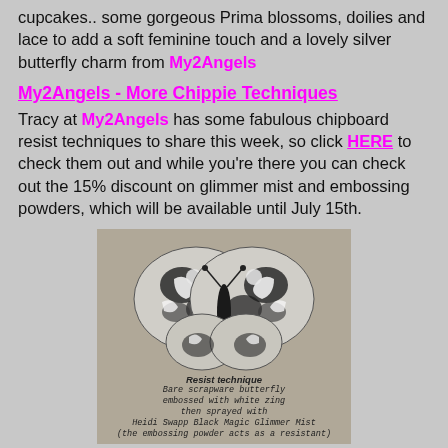cupcakes.. some gorgeous Prima blossoms, doilies and lace to add a soft feminine touch and a lovely silver butterfly charm from My2Angels
My2Angels - More Chippie Techniques
Tracy at My2Angels has some fabulous chipboard resist techniques to share this week, so click HERE to check them out and while you're there you can check out the 15% discount on glimmer mist and embossing powders, which will be available until July 15th.
[Figure (photo): Photo of a bare chipboard butterfly embossed with white zing then sprayed with Heidi Swapp Black Magic Glimmer Mist (the embossing powder acts as a resistant). The butterfly has a black and white swirling pattern. Caption text reads: Resist technique / Bare scrapware butterfly embossed with white zing then sprayed with Heidi Swapp Black Magic Glimmer Mist (the embossing powder acts as a resistant)]